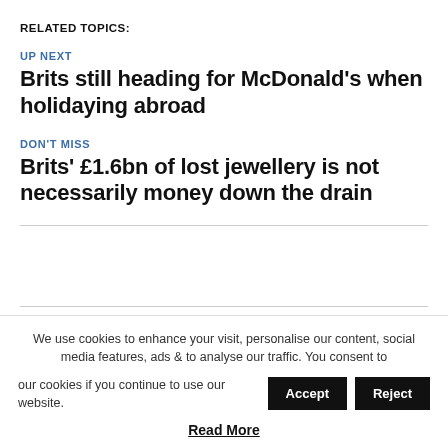RELATED TOPICS:
UP NEXT
Brits still heading for McDonald’s when holidaying abroad
DON’T MISS
Brits’ £1.6bn of lost jewellery is not necessarily money down the drain
We use cookies to enhance your visit, personalise our content, social media features, ads & to analyse our traffic. You consent to our cookies if you continue to use our website.
Read More